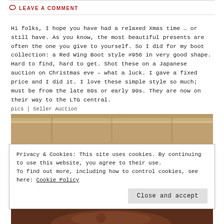LEAVE A COMMENT
Hi folks, I hope you have had a relaxed Xmas time … or still have. As you know, the most beautiful presents are often the one you give to yourself. So I did for my boot collection: a Red Wing Boot style #956 in very good shape. Hard to find, hard to get. Shot these on a Japanese auction on Christmas eve – what a luck. I gave a fixed price and I did it. I love these simple style so much; must be from the late 80s or early 90s. They are now on their way to the LTG central.
pics | Seller Auction
[Figure (photo): Wooden surface / shelf photo strip]
Privacy & Cookies: This site uses cookies. By continuing to use this website, you agree to their use. To find out more, including how to control cookies, see here: Cookie Policy
Close and accept
[Figure (photo): Brown leather boot, partial view at bottom]